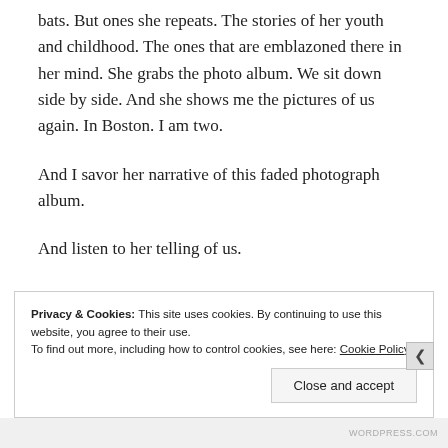bats. But ones she repeats. The stories of her youth and childhood. The ones that are emblazoned there in her mind. She grabs the photo album. We sit down side by side. And she shows me the pictures of us again. In Boston. I am two.
And I savor her narrative of this faded photograph album.
And listen to her telling of us.
Privacy & Cookies: This site uses cookies. By continuing to use this website, you agree to their use. To find out more, including how to control cookies, see here: Cookie Policy
Close and accept